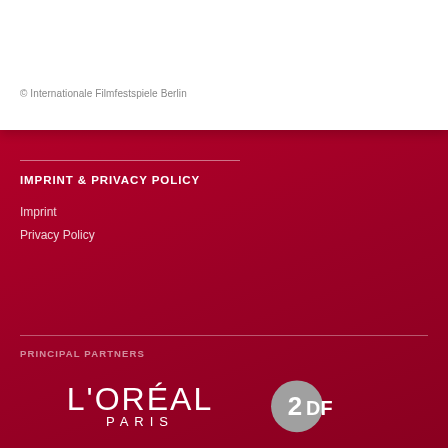© Internationale Filmfestspiele Berlin
IMPRINT & PRIVACY POLICY
Imprint
Privacy Policy
PRINCIPAL PARTNERS
[Figure (logo): L'ORÉAL PARIS logo in white text on dark red background]
[Figure (logo): ZDF logo: grey circle with '2DF' text]